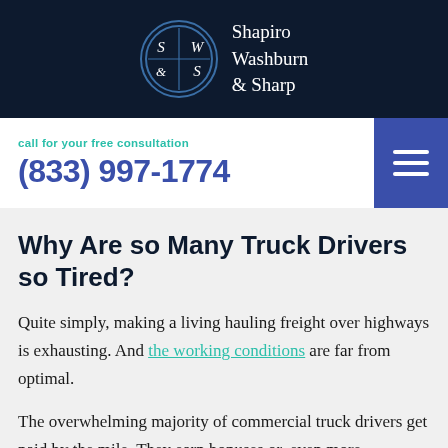[Figure (logo): Shapiro Washburn & Sharp law firm logo with circular emblem and firm name in white on dark navy background]
call for your free consultation
(833) 997-1774
Why Are so Many Truck Drivers so Tired?
Quite simply, making a living hauling freight over highways is exhausting. And the working conditions are far from optimal.
The overwhelming majority of commercial truck drivers get paid by the mile. They earn bonuses or, even more motivatingly, avoid penalties for completing on-time deliveries. Covering ground